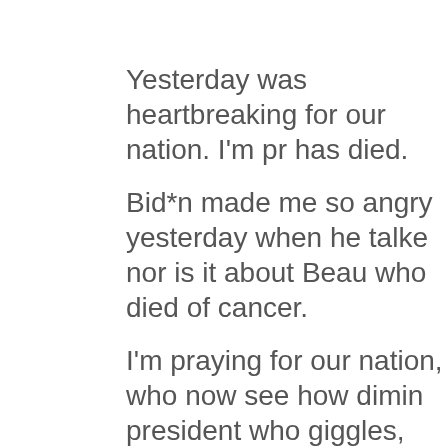Yesterday was heartbreaking for our nation. I'm pr has died.
Bid*n made me so angry yesterday when he talke nor is it about Beau who died of cancer.
I'm praying for our nation, who now see how dimin president who giggles, and laughs inappropriately.
Despite all of that there is good news happening.
The Supreme Court has set down several good ru
One is in regard to the Stay In Mexico plan that th their applications are approved to come in to the U
Right now they are not only allowing people to cro every day, multiple times a day. Mostly military age
The SC said that the Bid*n Admin had to reinstate